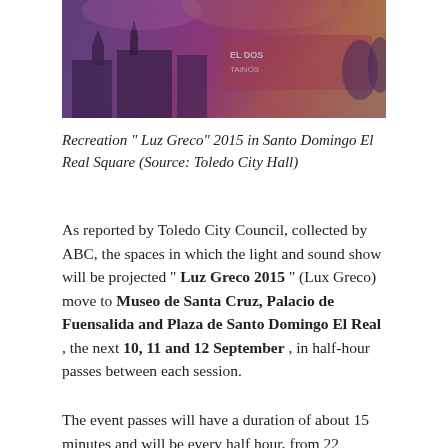[Figure (photo): A nighttime light and sound show projected on a historic building facade. Purple, pink, and warm orange colors illuminate the scene with architectural silhouettes visible.]
Recreation " Luz Greco" 2015 in Santo Domingo El Real Square (Source: Toledo City Hall)
As reported by Toledo City Council, collected by ABC, the spaces in which the light and sound show will be projected " Luz Greco 2015 " (Lux Greco) move to Museo de Santa Cruz, Palacio de Fuensalida and Plaza de Santo Domingo El Real , the next 10, 11 and 12 September , in half-hour passes between each session.
The event passes will have a duration of about 15 minutes and will be every half hour, from 22